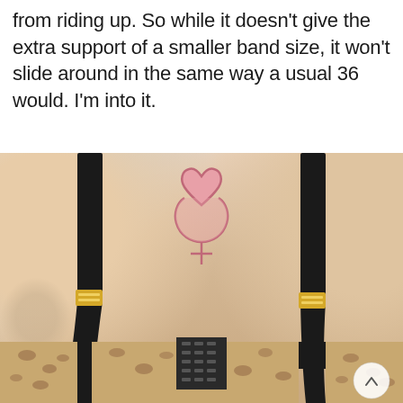from riding up. So while it doesn't give the extra support of a smaller band size, it won't slide around in the same way a usual 36 would. I'm into it.
[Figure (photo): Photo of a person's back wearing a black bra with leopard print band. A pink heart-shaped Venus symbol tattoo is visible on the upper back. The person's arms are raised. A scroll-up button is visible in the bottom right corner.]